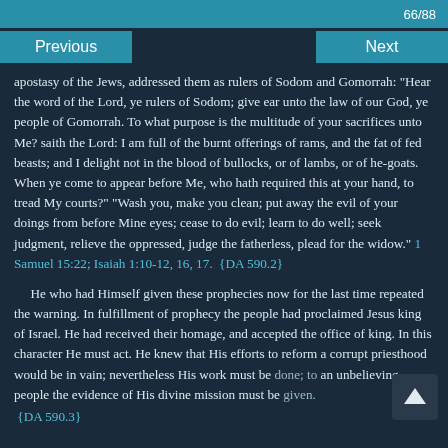66/88
Previous
Next
apostasy of the Jews, addressed them as rulers of Sodom and Gomorrah: "Hear the word of the Lord, ye rulers of Sodom; give ear unto the law of our God, ye people of Gomorrah. To what purpose is the multitude of your sacrifices unto Me? saith the Lord: I am full of the burnt offerings of rams, and the fat of fed beasts; and I delight not in the blood of bullocks, or of lambs, or of he-goats. When ye come to appear before Me, who hath required this at your hand, to tread My courts?" "Wash you, make you clean; put away the evil of your doings from before Mine eyes; cease to do evil; learn to do well; seek judgment, relieve the oppressed, judge the fatherless, plead for the widow." 1 Samuel 15:22; Isaiah 1:10-12, 16, 17. {DA 590.2}
He who had Himself given these prophecies now for the last time repeated the warning. In fulfillment of prophecy the people had proclaimed Jesus king of Israel. He had received their homage, and accepted the office of king. In this character He must act. He knew that His efforts to reform a corrupt priesthood would be in vain; nevertheless His work must be done; to an unbelieving people the evidence of His divine mission must be given. {DA 590.3}